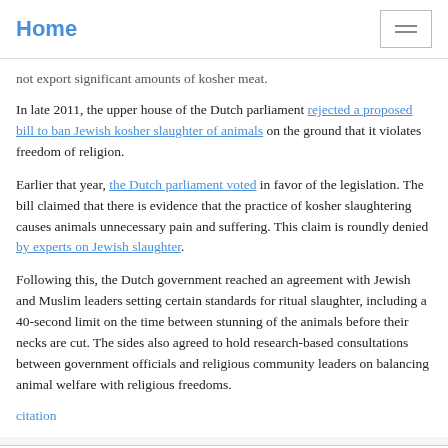Home
not export significant amounts of kosher meat.
In late 2011, the upper house of the Dutch parliament rejected a proposed bill to ban Jewish kosher slaughter of animals on the ground that it violates freedom of religion.
Earlier that year, the Dutch parliament voted in favor of the legislation. The bill claimed that there is evidence that the practice of kosher slaughtering causes animals unnecessary pain and suffering. This claim is roundly denied by experts on Jewish slaughter.
Following this, the Dutch government reached an agreement with Jewish and Muslim leaders setting certain standards for ritual slaughter, including a 40-second limit on the time between stunning of the animals before their necks are cut. The sides also agreed to hold research-based consultations between government officials and religious community leaders on balancing animal welfare with religious freedoms.
citation
POSTED AT 03:11 PM | PERMALINK | COMMENTS (0)
Faged knew about dangerous bus driver, yet